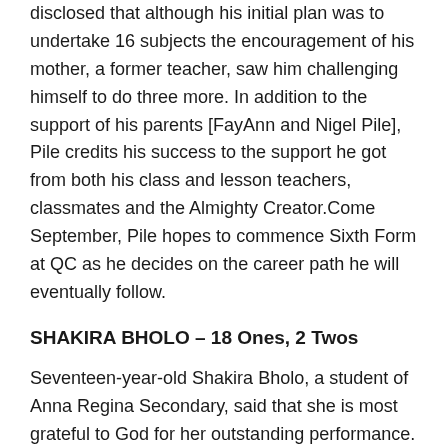disclosed that although his initial plan was to undertake 16 subjects the encouragement of his mother, a former teacher, saw him challenging himself to do three more. In addition to the support of his parents [FayAnn and Nigel Pile], Pile credits his success to the support he got from both his class and lesson teachers, classmates and the Almighty Creator.Come September, Pile hopes to commence Sixth Form at QC as he decides on the career path he will eventually follow.
SHAKIRA BHOLO – 18 Ones, 2 Twos
Seventeen-year-old Shakira Bholo, a student of Anna Regina Secondary, said that she is most grateful to God for her outstanding performance. The Cotton Field, Essequibo Coast resident also spoke of the support from her parents.